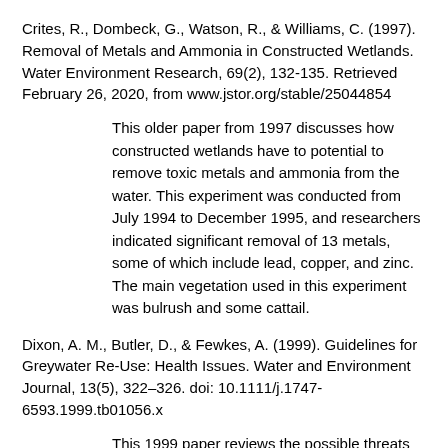Crites, R., Dombeck, G., Watson, R., & Williams, C. (1997). Removal of Metals and Ammonia in Constructed Wetlands. Water Environment Research, 69(2), 132-135. Retrieved February 26, 2020, from www.jstor.org/stable/25044854
This older paper from 1997 discusses how constructed wetlands have to potential to remove toxic metals and ammonia from the water. This experiment was conducted from July 1994 to December 1995, and researchers indicated significant removal of 13 metals, some of which include lead, copper, and zinc. The main vegetation used in this experiment was bulrush and some cattail.
Dixon, A. M., Butler, D., & Fewkes, A. (1999). Guidelines for Greywater Re-Use: Health Issues. Water and Environment Journal, 13(5), 322–326. doi: 10.1111/j.1747-6593.1999.tb01056.x
This 1999 paper reviews the possible threats that grey water reuse can pose. It reviews the risks and provides modified guidelines taking into consideration public health.